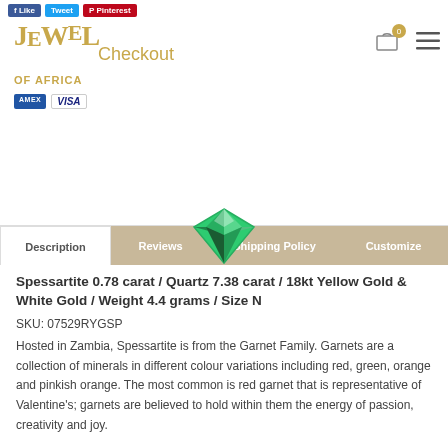Jewels of Africa — Checkout header with logo, cart, and payment icons
Description | Reviews | Shipping Policy | Customize
Spessartite 0.78 carat / Quartz 7.38 carat / 18kt Yellow Gold & White Gold / Weight 4.4 grams / Size N
SKU: 07529RYGSP
Hosted in Zambia, Spessartite is from the Garnet Family. Garnets are a collection of minerals in different colour variations including red, green, orange and pinkish orange. The most common is red garnet that is representative of Valentine's; garnets are believed to hold within them the energy of passion, creativity and joy.